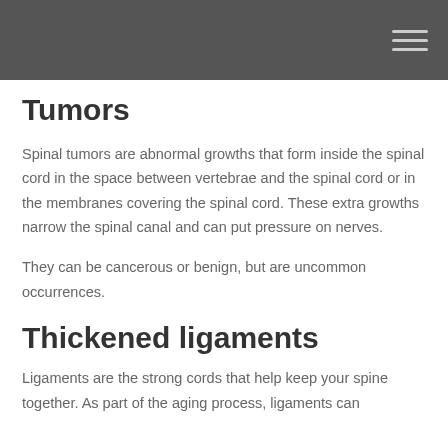Tumors
Spinal tumors are abnormal growths that form inside the spinal cord in the space between vertebrae and the spinal cord or in the membranes covering the spinal cord. These extra growths narrow the spinal canal and can put pressure on nerves.
They can be cancerous or benign, but are uncommon occurrences.
Thickened ligaments
Ligaments are the strong cords that help keep your spine together. As part of the aging process, ligaments can